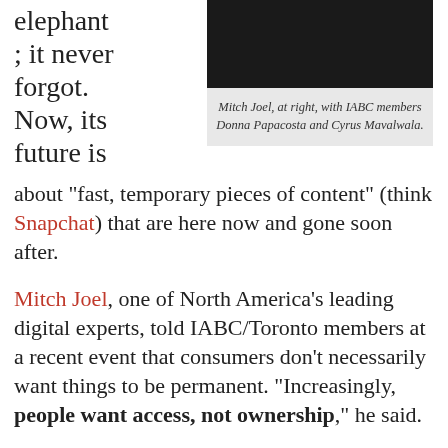elephant ; it never forgot. Now, its future is
[Figure (photo): A photo of Mitch Joel with IABC members Donna Papacosta and Cyrus Mavalwala at an event.]
Mitch Joel, at right, with IABC members Donna Papacosta and Cyrus Mavalwala.
about “fast, temporary pieces of content” (think Snapchat) that are here now and gone soon after.
Mitch Joel, one of North America’s leading digital experts, told IABC/Toronto members at a recent event that consumers don’t necessarily want things to be permanent. “Increasingly, people want access, not ownership,” he said.
For evidence, look no further than the shift from owning or renting DVDs (and the demise of Blockbuster) to subscribing to a whole library of TV